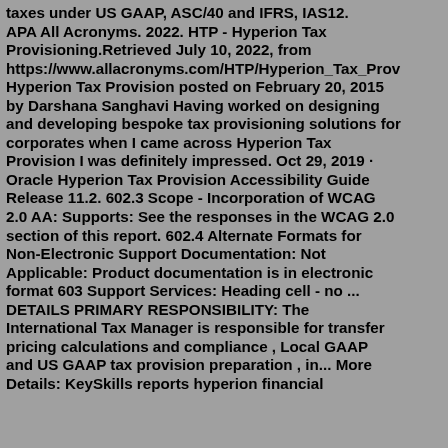taxes under US GAAP, ASC/40 and IFRS, IAS12. APA All Acronyms. 2022. HTP - Hyperion Tax Provisioning.Retrieved July 10, 2022, from https://www.allacronyms.com/HTP/Hyperion_Tax_Prov Hyperion Tax Provision posted on February 20, 2015 by Darshana Sanghavi Having worked on designing and developing bespoke tax provisioning solutions for corporates when I came across Hyperion Tax Provision I was definitely impressed. Oct 29, 2019 · Oracle Hyperion Tax Provision Accessibility Guide Release 11.2. 602.3 Scope - Incorporation of WCAG 2.0 AA: Supports: See the responses in the WCAG 2.0 section of this report. 602.4 Alternate Formats for Non-Electronic Support Documentation: Not Applicable: Product documentation is in electronic format 603 Support Services: Heading cell - no ... DETAILS PRIMARY RESPONSIBILITY: The International Tax Manager is responsible for transfer pricing calculations and compliance , Local GAAP and US GAAP tax provision preparation , in... More Details: KeySkills reports hyperion financial